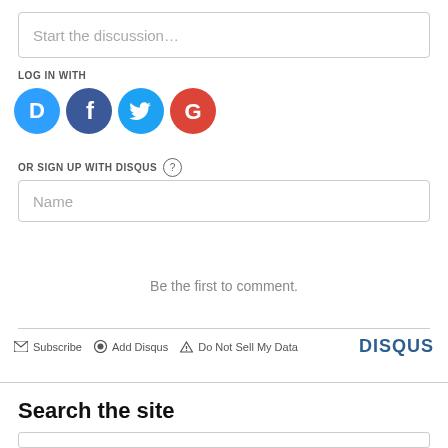Start the discussion…
LOG IN WITH
[Figure (other): Social login buttons: Disqus (blue circle with D), Facebook (dark blue circle with f), Twitter (light blue circle with bird), Google (red circle with G)]
OR SIGN UP WITH DISQUS ?
Name
Be the first to comment.
✉ Subscribe  ⊙ Add Disqus  ▲ Do Not Sell My Data  DISQUS
Search the site